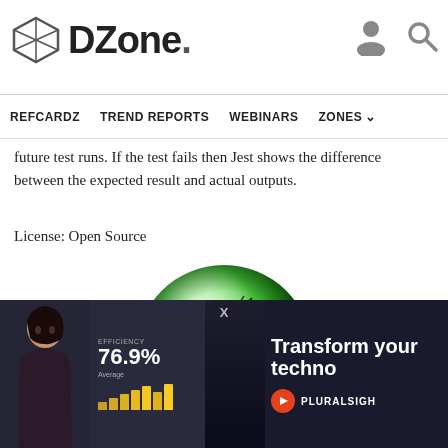DZone. [navigation icons]
REFCARDZ   TREND REPORTS   WEBINARS   ZONES
future test runs. If the test fails then Jest shows the difference between the expected result and actual outputs.
License: Open Source
[Figure (logo): Green glowing sphere/ball with a cricket or grasshopper silhouette — appears to be the logo for Locust load testing tool]
L...
Lo... (link)
eas...
testing web sites (or other systems) and figuring out how many
[Figure (screenshot): Advertisement overlay: dark background with a woman, stats showing 76.9% EFFICIENCY, and text 'Transform your techno...' with Pluralsight branding]